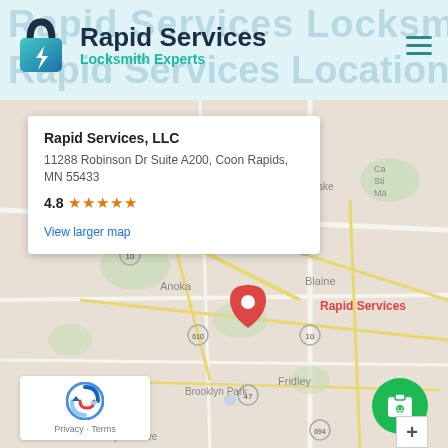[Figure (screenshot): Rapid Services Locksmith Experts website header with logo (padlock icon with lightning bolt), company name, tagline, and hamburger menu icon on light blue background with watermark text]
[Figure (map): Google Maps embed showing Rapid Services LLC location in Coon Rapids MN area with a popup card showing business name, address (11288 Robinson Dr Suite A200, Coon Rapids, MN 55433), 4.8 star rating, and View larger map link. Map shows surrounding areas: Ramsey, Ham Lake, Andover, Anoka, Blaine, Brooklyn Park, Fridley, Maple Grove.]
Rapid Services, LLC
11288 Robinson Dr Suite A200, Coon Rapids, MN 55433
4.8 ★★★★★
View larger map
Privacy · Terms